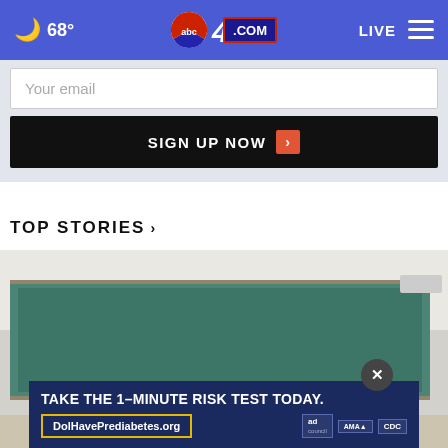68° abc4.com LIVE
Your email
SIGN UP NOW
TOP STORIES ›
[Figure (photo): Blurred classroom interior with green chalkboard]
[Figure (infographic): Ad overlay: TAKE THE 1-MINUTE RISK TEST TODAY. DolHavePrediabetes.org with ad, AMA, and CDC logos]